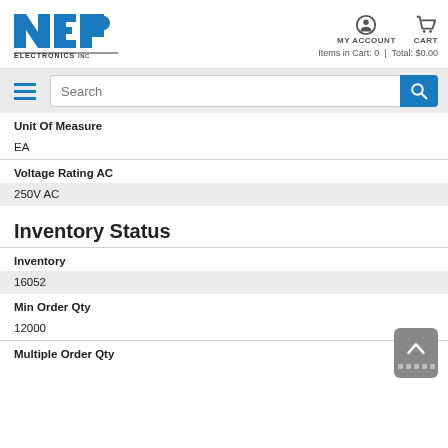[Figure (logo): NEP Electronics Inc logo in blue and black]
MY ACCOUNT
CART
Items in Cart: 0 | Total: $0.00
Search
Unit Of Measure
EA
Voltage Rating AC
250V AC
Inventory Status
Inventory
16052
Min Order Qty
12000
Multiple Order Qty